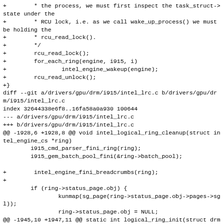+        * the process, we must first inspect the task_struct->state under the
+        * RCU lock, i.e. as we call wake_up_process() we must be holding the
+        * rcu_read_lock().
+        */
+        rcu_read_lock();
+        for_each_ring(engine, i915, i)
+                intel_engine_wakeup(engine);
+        rcu_read_unlock();
+}
diff --git a/drivers/gpu/drm/i915/intel_lrc.c b/drivers/gpu/drm/i915/intel_lrc.c
index 32644338e6f8..16fa58a0a930 100644
--- a/drivers/gpu/drm/i915/intel_lrc.c
+++ b/drivers/gpu/drm/i915/intel_lrc.c
@@ -1928,6 +1928,8 @@ void intel_logical_ring_cleanup(struct intel_engine_cs *ring)
        i915_cmd_parser_fini_ring(ring);
        i915_gem_batch_pool_fini(&ring->batch_pool);

+        intel_engine_fini_breadcrumbs(ring);
+
        if (ring->status_page.obj) {
                kunmap(sg_page(ring->status_page.obj->pages->sgl));
                ring->status_page.obj = NULL;
@@ -1945,10 +1947,11 @@ static int logical_ring_init(struct drm_device *dev, struct